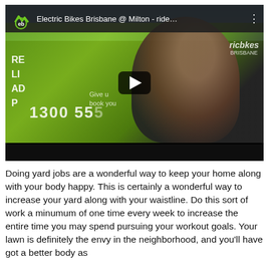[Figure (screenshot): YouTube video thumbnail showing a woman with sunglasses standing in front of a green Electric Bikes Brisbane van. The video player interface shows the channel name 'Electric Bikes Brisbane @ Milton - ride...' with logo and a play button overlay.]
Doing yard jobs are a wonderful way to keep your home along with your body happy. This is certainly a wonderful way to increase your yard along with your waistline. Do this sort of work a minumum of one time every week to increase the entire time you may spend pursuing your workout goals. Your lawn is definitely the envy in the neighborhood, and you'll have got a better body as